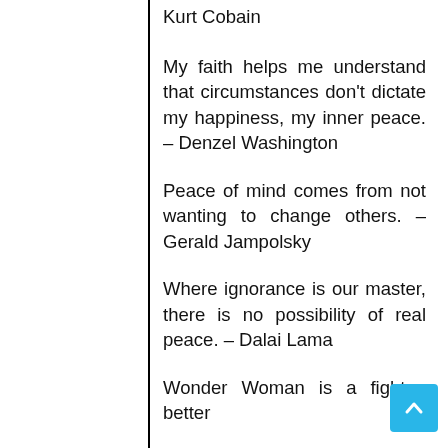Kurt Cobain
My faith helps me understand that circumstances don't dictate my happiness, my inner peace. – Denzel Washington
Peace of mind comes from not wanting to change others. – Gerald Jampolsky
Where ignorance is our master, there is no possibility of real peace. – Dalai Lama
Wonder Woman is a fighter, better